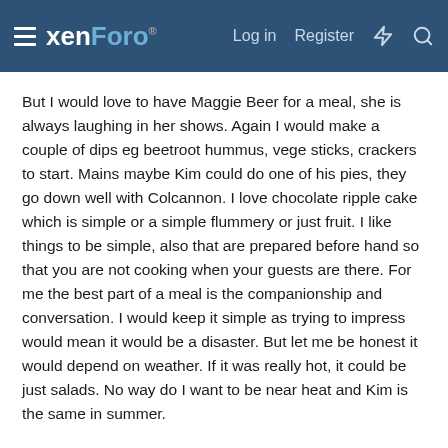xenForo | Log in | Register
But I would love to have Maggie Beer for a meal, she is always laughing in her shows. Again I would make a couple of dips eg beetroot hummus, vege sticks, crackers to start. Mains maybe Kim could do one of his pies, they go down well with Colcannon. I love chocolate ripple cake which is simple or a simple flummery or just fruit. I like things to be simple, also that are prepared before hand so that you are not cooking when your guests are there. For me the best part of a meal is the companionship and conversation. I would keep it simple as trying to impress would mean it would be a disaster. But let me be honest it would depend on weather. If it was really hot, it could be just salads. No way do I want to be near heat and Kim is the same in summer.
By the way Maggie just calls herself a cook she lives in the Barossa Valley a German region of SA, known for its wine. She has a farm and a vineyard and a restaurant. Many books and tv shows. Known for a show called the chef and the cook.